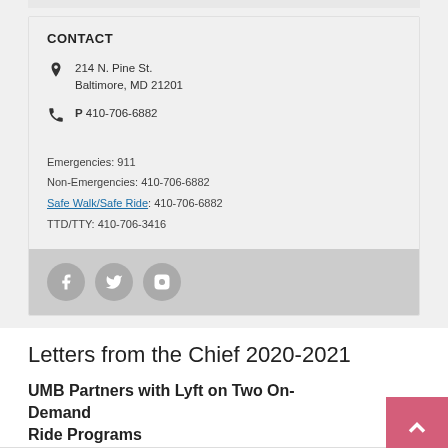CONTACT
214 N. Pine St.
Baltimore, MD 21201
P 410-706-6882
Emergencies: 911
Non-Emergencies: 410-706-6882
Safe Walk/Safe Ride: 410-706-6882
TTD/TTY: 410-706-3416
[Figure (other): Social media icons: Facebook, Twitter, Instagram]
Letters from the Chief 2020-2021
UMB Partners with Lyft on Two On-Demand Ride Programs